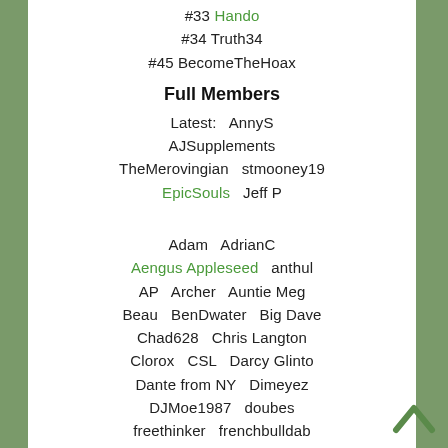#33 Hando
#34 Truth34
#45 BecomeTheHoax
Full Members
Latest:  AnnyS
AJSupplements
TheMerovingian   stmooney19
EpicSouls   Jeff P
Adam   AdrianC
Aengus Appleseed   anthul
AP   Archer   Auntie Meg
Beau   BenDwater   Big Dave
Chad628   Chris Langton
Clorox   CSL   Darcy Glinto
Dante from NY   Dimeyez
DJMoe1987   doubes
freethinker   frenchbulldab
gpopp   Hellrot   Hilly